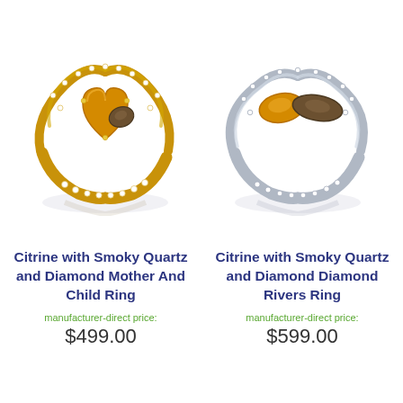[Figure (photo): Two jewelry rings side by side. Left: Citrine with Smoky Quartz and Diamond ring in yellow gold setting. Right: Citrine with Smoky Quartz and Diamond ring in white gold/silver setting.]
Citrine with Smoky Quartz and Diamond Mother And Child Ring
manufacturer-direct price:
$499.00
Citrine with Smoky Quartz and Diamond Diamond Rivers Ring
manufacturer-direct price:
$599.00